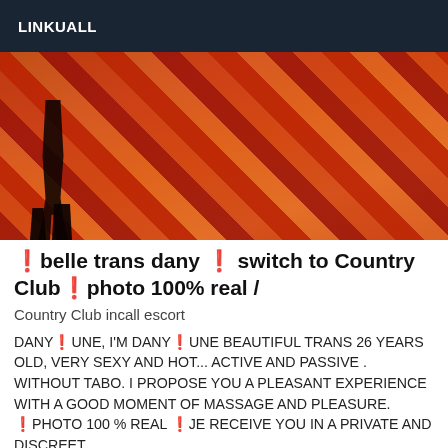LINKUALL
[Figure (photo): Close-up photo of a person's legs in high heels against a red and orange plaid/striped fabric background]
🌟belle trans dany 🌟 switch to Country Club🌟photo 100% real /
Country Club incall escort
DANY🌟UNE, I'M DANY🌟UNE BEAUTIFUL TRANS 26 YEARS OLD, VERY SEXY AND HOT... ACTIVE AND PASSIVE . WITHOUT TABO. I PROPOSE YOU A PLEASANT EXPERIENCE WITH A GOOD MOMENT OF MASSAGE AND PLEASURE. 🌟PHOTO 100 % REAL 🌟JE RECEIVE YOU IN A PRIVATE AND DISCREET